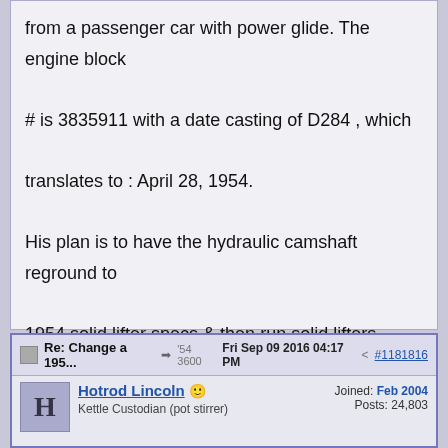from a passenger car with power glide. The engine block

# is 3835911 with a date casting of D284 , which

translates to : April 28, 1954.

His plan is to have the hydraulic camshaft reground to

1954 solid lifter specs & then run solid lifters.

Is this possible ?

Need some in depth opinions of his plan.

Thank You,
George
'54 3600
Re: Change a 195... ➤ '54 3600   Fri Sep 09 2016 04:17 PM  < #1181816
Hotrod Lincoln  Joined: Feb 2004
Kettle Custodian (pot stirrer)   Posts: 24,803